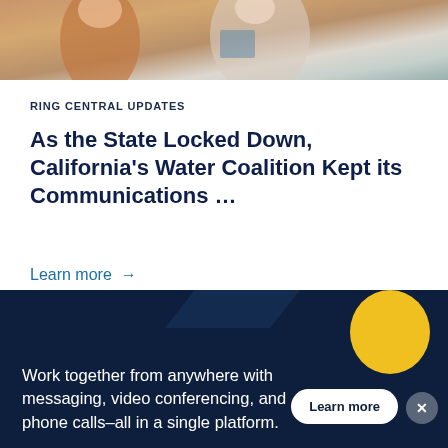[Figure (photo): Partial photo showing two people, one in an orange top and one in a light jacket, appearing to be in a meeting or conversation setting]
RING CENTRAL UPDATES
As the State Locked Down, California's Water Coalition Kept its Communications ...
Learn more →
[Figure (infographic): Dark navy banner with yellow chat bubble icon, text reading 'Work together from anywhere with messaging, video conferencing, and phone calls–all in a single platform.' with a Learn more button and X close button]